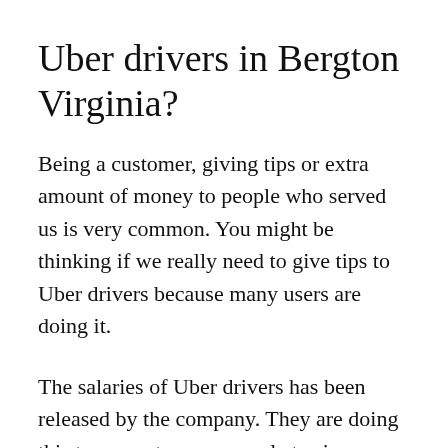Uber drivers in Bergton Virginia?
Being a customer, giving tips or extra amount of money to people who served us is very common. You might be thinking if we really need to give tips to Uber drivers because many users are doing it.
The salaries of Uber drivers has been released by the company. They are doing this to promote more people to sign up and become Uber drivers. According to them, the average income of regular Uber